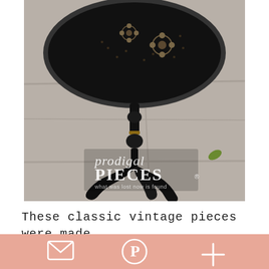[Figure (photo): A black painted vintage pedestal table with ornate floral design on the round top, turned center post with gold ring detail, and three curved cabriole-style legs. Photographed outdoors on a concrete sidewalk. Prodigal Pieces watermark logo visible in lower left of photo.]
These classic vintage pieces were made
[Figure (infographic): Bottom social sharing bar with salmon/pink background containing three icons: envelope (email), Pinterest P logo, and plus sign.]